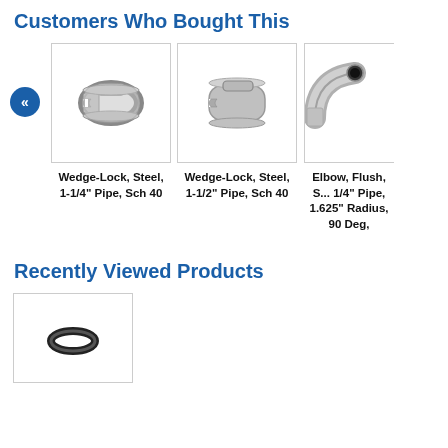Customers Who Bought This
[Figure (photo): Wedge-Lock, Steel, 1-1/4" Pipe, Sch 40 - metal ring clamp product photo]
Wedge-Lock, Steel, 1-1/4" Pipe, Sch 40
[Figure (photo): Wedge-Lock, Steel, 1-1/2" Pipe, Sch 40 - metal ring clamp product photo]
Wedge-Lock, Steel, 1-1/2" Pipe, Sch 40
[Figure (photo): Elbow, Flush, S... 1/4" Pipe, 1.625" Radius, 90 Deg, - partially visible elbow pipe product photo]
Elbow, Flush, S... 1/4" Pipe, 1.625" Radius, 90 Deg,
Recently Viewed Products
[Figure (photo): Small black O-ring product photo in recently viewed section]